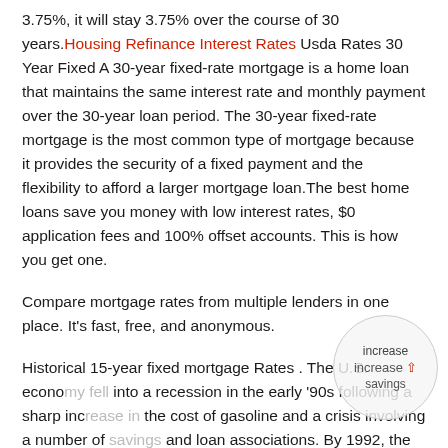3.75%, it will stay 3.75% over the course of 30 years. Housing Refinance Interest Rates Usda Rates 30 Year Fixed A 30-year fixed-rate mortgage is a home loan that maintains the same interest rate and monthly payment over the 30-year loan period. The 30-year fixed-rate mortgage is the most common type of mortgage because it provides the security of a fixed payment and the flexibility to afford a larger mortgage loan.The best home loans save you money with low interest rates, $0 application fees and 100% offset accounts. This is how you get one.
Compare mortgage rates from multiple lenders in one place. It's fast, free, and anonymous.
Historical 15-year fixed mortgage Rates . The U.S. economy fell into a recession in the early '90s following a sharp increase in the cost of gasoline and a crisis involving a number of savings and loan associations. By 1992, the recession had ended and...